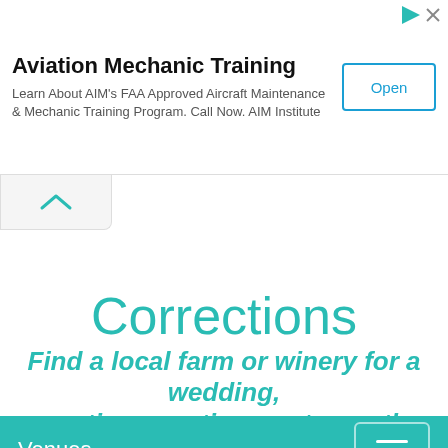[Figure (other): Advertisement banner for Aviation Mechanic Training by AIM Institute with an Open button]
Corrections
Find a local farm or winery for a wedding, reception, meeting, party or other event!
Venues